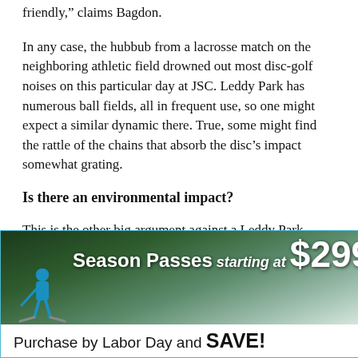friendly,” claims Bagdon.
In any case, the hubbub from a lacrosse match on the neighboring athletic field drowned out most disc-golf noises on this particular day at JSC. Leddy Park has numerous ball fields, all in frequent use, so one might expect a similar dynamic there. True, some might find the rattle of the chains that absorb the disc’s impact somewhat grating.
Is there an environmental impact?
This is the other big argument against a Leddy Park course. As we stroll through the heavily wooded lower six holes — the original course was 12 holes — Bagdon
[Figure (infographic): Advertisement banner: Season Passes starting at $299. Purchase by Labor Day and SAVE! Shows a skier on a snowy slope.]